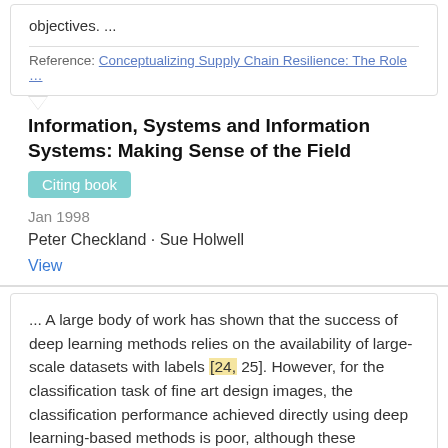objectives. ...
Reference: Conceptualizing Supply Chain Resilience: The Role …
Information, Systems and Information Systems: Making Sense of the Field
Citing book
Jan 1998
Peter Checkland · Sue Holwell
View
... A large body of work has shown that the success of deep learning methods relies on the availability of large-scale datasets with labels [24, 25]. However, for the classification task of fine art design images, the classification performance achieved directly using deep learning-based methods is poor, although these methods have achieved good classification performance on natural image classification tasks. ...
Reference: A Study on the Application of Visual Perception in Art...